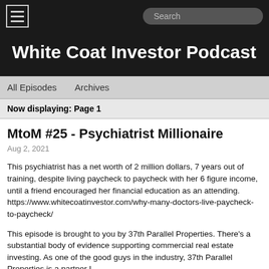White Coat Investor Podcast
All Episodes   Archives
Now displaying: Page 1
MtoM #25 - Psychiatrist Millionaire
Aug 2, 2021
This psychiatrist has a net worth of 2 million dollars, 7 years out of training, despite living paycheck to paycheck with her 6 figure income, until a friend encouraged her financial education as an attending. https://www.whitecoatinvestor.com/why-many-doctors-live-paycheck-to-paycheck/
This episode is brought to you by 37th Parallel Properties. There's a substantial body of evidence supporting commercial real estate investing. As one of the good guys in the industry, 37th Parallel Properties is a partner I